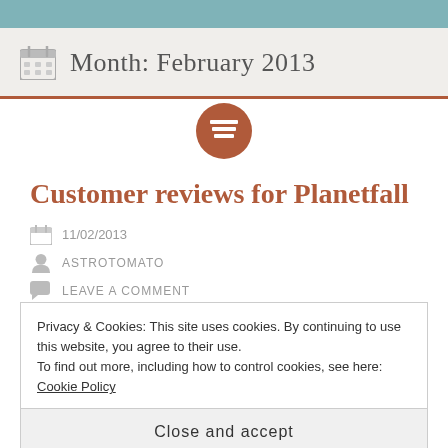Month: February 2013
Customer reviews for Planetfall
11/02/2013
ASTROTOMATO
LEAVE A COMMENT
Tonight I put out the call: "Have you read Planetfall?
Privacy & Cookies: This site uses cookies. By continuing to use this website, you agree to their use.
To find out more, including how to control cookies, see here: Cookie Policy
Close and accept
they had to say: